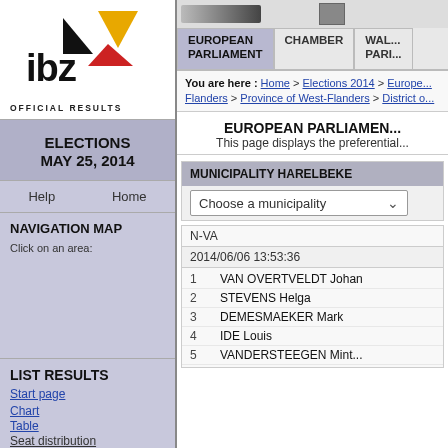[Figure (logo): IBZ logo with black, gold and red triangles]
OFFICIAL RESULTS
ELECTIONS
MAY 25, 2014
Help    Home
NAVIGATION MAP
Click on an area:
LIST RESULTS
Start page
Chart
Table
Seat distribution
[Figure (screenshot): Navigation tabs: EUROPEAN PARLIAMENT (active), CHAMBER, WAL... PARI...]
You are here : Home > Elections 2014 > Europe... Flanders > Province of West-Flanders > District o...
EUROPEAN PARLIAMEN...
This page displays the preferential...
| MUNICIPALITY HARELBEKE |
| --- |
N-VA
2014/06/06 13:53:36
| # | Name |
| --- | --- |
| 1 | VAN OVERTVELDT Johan |
| 2 | STEVENS Helga |
| 3 | DEMESMAEKER Mark |
| 4 | IDE Louis |
| 5 | VANDERSTEEGEN Mint |